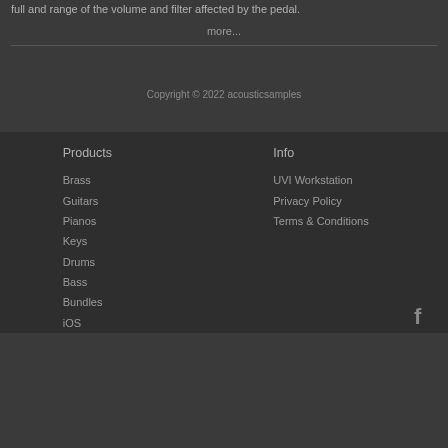full and range of the volume and filter affected by the pedal.
more...
Copyright © 2022 acousticsamples
Products
Brass
Guitars
Pianos
Keys
Drums
Bass
Bundles
iOS
Info
UVI Workstation
Privacy Policy
Terms & Conditions
[Figure (logo): Facebook logo icon]